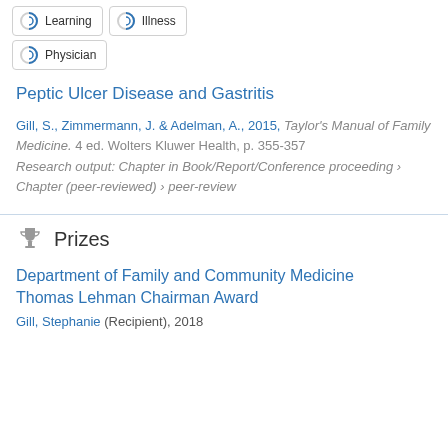Learning
Illness
Physician
Peptic Ulcer Disease and Gastritis
Gill, S., Zimmermann, J. & Adelman, A., 2015, Taylor's Manual of Family Medicine. 4 ed. Wolters Kluwer Health, p. 355-357
Research output: Chapter in Book/Report/Conference proceeding › Chapter (peer-reviewed) › peer-review
Prizes
Department of Family and Community Medicine Thomas Lehman Chairman Award
Gill, Stephanie (Recipient), 2018